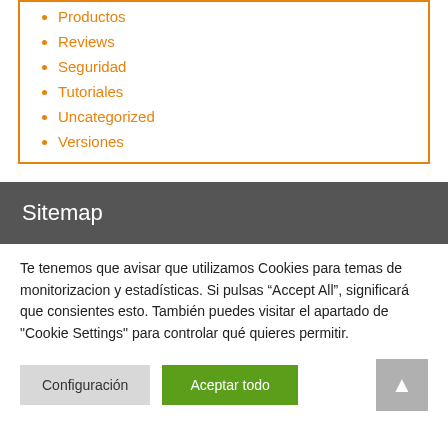Productos
Reviews
Seguridad
Tutoriales
Uncategorized
Versiones
Sitemap
Te tenemos que avisar que utilizamos Cookies para temas de monitorizacion y estadísticas. Si pulsas “Accept All”, significará que consientes esto. También puedes visitar el apartado de "Cookie Settings" para controlar qué quieres permitir.
Configuración
Aceptar todo